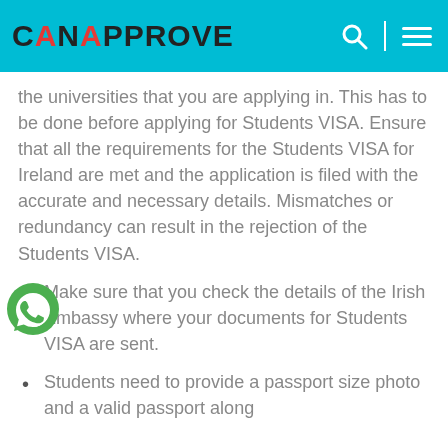CanApprove
the universities that you are applying in. This has to be done before applying for Students VISA. Ensure that all the requirements for the Students VISA for Ireland are met and the application is filed with the accurate and necessary details. Mismatches or redundancy can result in the rejection of the Students VISA.
Make sure that you check the details of the Irish Embassy where your documents for Students VISA are sent.
Students need to provide a passport size photo and a valid passport along